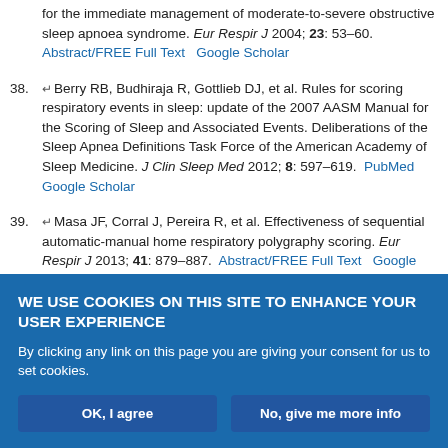for the immediate management of moderate-to-severe obstructive sleep apnoea syndrome. Eur Respir J 2004; 23: 53–60. Abstract/FREE Full Text Google Scholar
38. Berry RB, Budhiraja R, Gottlieb DJ, et al. Rules for scoring respiratory events in sleep: update of the 2007 AASM Manual for the Scoring of Sleep and Associated Events. Deliberations of the Sleep Apnea Definitions Task Force of the American Academy of Sleep Medicine. J Clin Sleep Med 2012; 8: 597–619. PubMed Google Scholar
39. Masa JF, Corral J, Pereira R, et al. Effectiveness of sequential automatic-manual home respiratory polygraphy scoring. Eur Respir J 2013; 41: 879–887. Abstract/FREE Full Text Google Scholar
40. Chesson AL, Jr, Berry RB, Pack A, et al. Practice parameters for the use...
WE USE COOKIES ON THIS SITE TO ENHANCE YOUR USER EXPERIENCE
By clicking any link on this page you are giving your consent for us to set cookies.